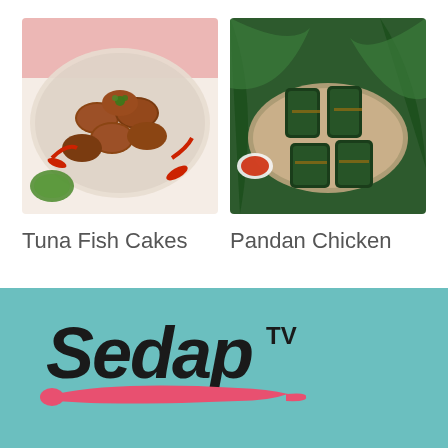[Figure (photo): Photo of Tuna Fish Cakes — fried patties on a plate with red chilies and green herb sauce]
[Figure (photo): Photo of Pandan Chicken — chicken wrapped in pandan leaves on a wooden board with dipping sauce]
Tuna Fish Cakes
Pandan Chicken
[Figure (logo): Sedap TV logo — stylized script text with a pink spoon underneath]